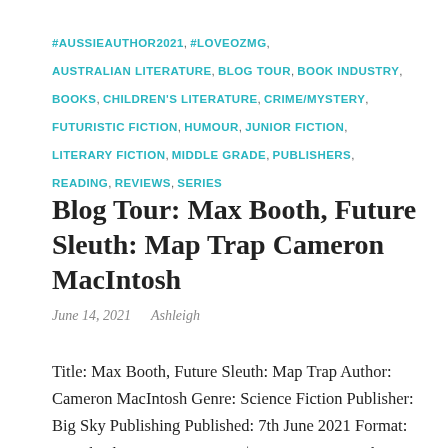#AUSSIEAUTHOR2021, #LOVEOZMG, AUSTRALIAN LITERATURE, BLOG TOUR, BOOK INDUSTRY, BOOKS, CHILDREN'S LITERATURE, CRIME/MYSTERY, FUTURISTIC FICTION, HUMOUR, JUNIOR FICTION, LITERARY FICTION, MIDDLE GRADE, PUBLISHERS, READING, REVIEWS, SERIES
Blog Tour: Max Booth, Future Sleuth: Map Trap Cameron MacIntosh
June 14, 2021   Ashleigh
Title: Max Booth, Future Sleuth: Map Trap Author: Cameron MacIntosh Genre: Science Fiction Publisher: Big Sky Publishing Published: 7th June 2021 Format: Paperback Pages: 128 Price: $12.99 Synopsis: There's a new sleuth in town — he's fun, funny, and very 2424! It's 2424. Super Sleuth